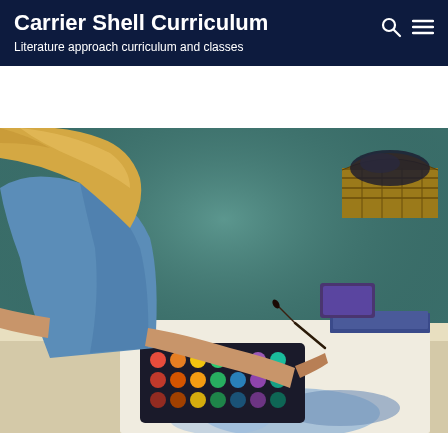Carrier Shell Curriculum
Literature approach curriculum and classes
[Figure (photo): A blonde girl or young woman seen from behind, wearing a blue shirt, painting with watercolors at a table. She holds a paintbrush in her right hand and there is a colorful watercolor palette in front of her. The background is a dark teal/green wall. On the table are art supplies including books and a wicker basket in the upper right corner.]